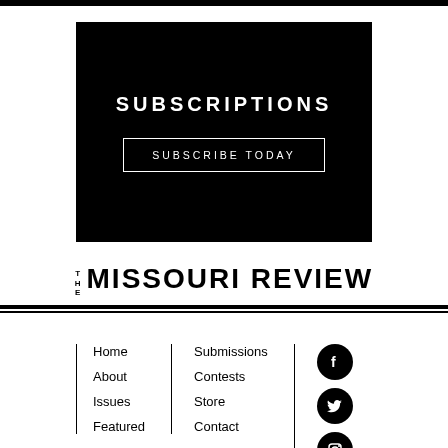[Figure (other): Black top bar / rule at top of page]
SUBSCRIPTIONS
SUBSCRIBE TODAY
THE MISSOURI REVIEW
Home
About
Issues
Featured
Submissions
Contests
Store
Contact
[Figure (other): Facebook social icon (black circle with white F)]
[Figure (other): Twitter social icon (black circle with white bird)]
[Figure (other): Instagram social icon (black circle with white camera)]